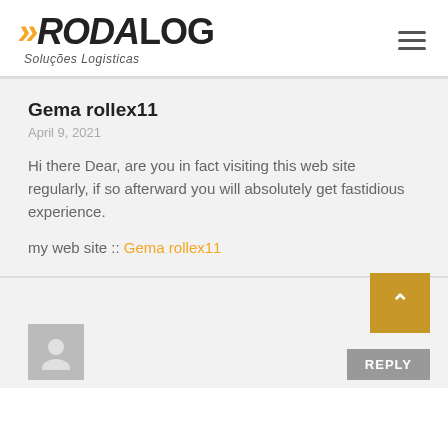[Figure (logo): Rodalog logo with orange arrows and text 'RODALOG Soluções Logisticas']
Gema rollex11
April 9, 2021
Hi there Dear, are you in fact visiting this web site regularly, if so afterward you will absolutely get fastidious experience.
my web site :: Gema rollex11
[Figure (illustration): Back to top button (orange/gold square with up arrow caret) and Reply button (gray)]
[Figure (illustration): User avatar placeholder (gray square with silhouette icon)]